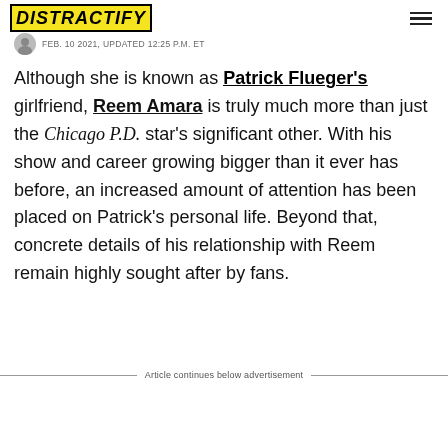DISTRACTIFY
FEB. 10 2021, UPDATED 12:25 P.M. ET
Although she is known as Patrick Flueger's girlfriend, Reem Amara is truly much more than just the Chicago P.D. star's significant other. With his show and career growing bigger than it ever has before, an increased amount of attention has been placed on Patrick's personal life. Beyond that, concrete details of his relationship with Reem remain highly sought after by fans.
Article continues below advertisement